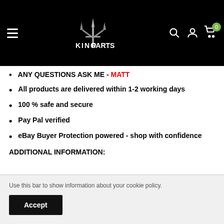[Figure (logo): King Parts logo with trident/crown symbol on black background with navigation icons (search, user, cart with badge 0)]
ANY QUESTIONS ASK ME - MATT
All products are delivered within 1-2 working days
100 % safe and secure
Pay Pal verified
eBay Buyer Protection powered - shop with confidence
ADDITIONAL INFORMATION:
Use this bar to show information about your cookie policy.